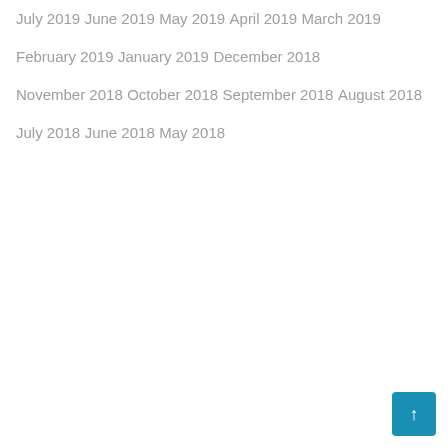July 2019
June 2019
May 2019
April 2019
March 2019
February 2019
January 2019
December 2018
November 2018
October 2018
September 2018
August 2018
July 2018
June 2018
May 2018